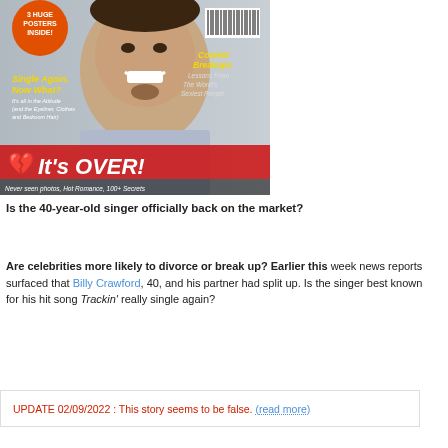[Figure (photo): Magazine cover featuring a young man with a goatee smiling, with text 'It's OVER!', '3 HUGE POSTERS INSIDE!', 'Single Again. Now What?', 'Coolest Breakups', 'Never seen photos, Hot Romance, 100+ Secrets', and a barcode]
Is the 40-year-old singer officially back on the market?
Are celebrities more likely to divorce or break up? Earlier this week news reports surfaced that Billy Crawford, 40, and his partner had split up. Is the singer best known for his hit song Trackin' really single again?
UPDATE 02/09/2022 : This story seems to be false. (read more)